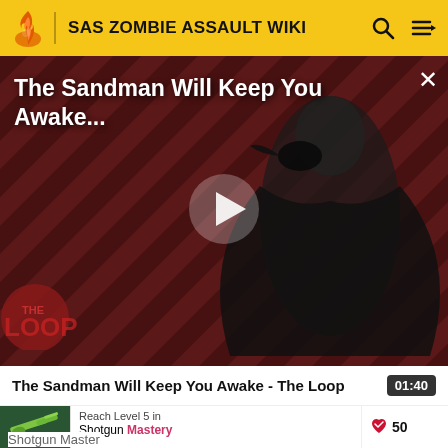SAS ZOMBIE ASSAULT WIKI
[Figure (screenshot): Video thumbnail with dark-robed figure against diagonal stripe background. Title overlay reads 'The Sandman Will Keep You Awake...' with THE LOOP watermark. Play button visible in center. Close X button top right.]
The Sandman Will Keep You Awake - The Loop
01:40
[Figure (illustration): Green shotgun weapon icon on dark green background]
Reach Level 5 in Shotgun Mastery
30
Shotgun Master